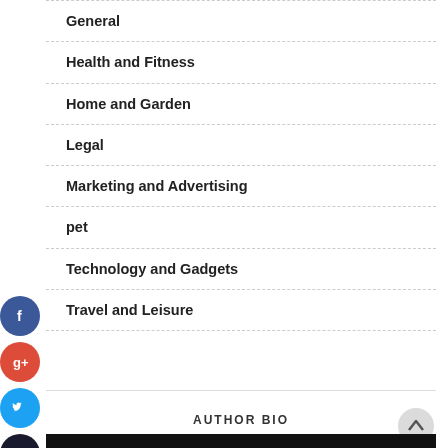General
Health and Fitness
Home and Garden
Legal
Marketing and Advertising
pet
Technology and Gadgets
Travel and Leisure
[Figure (other): Social media share icons: Facebook (blue), Google+ (red), Twitter (light blue), Plus (dark)]
AUTHOR BIO
[Figure (photo): Dark image strip at bottom of page]